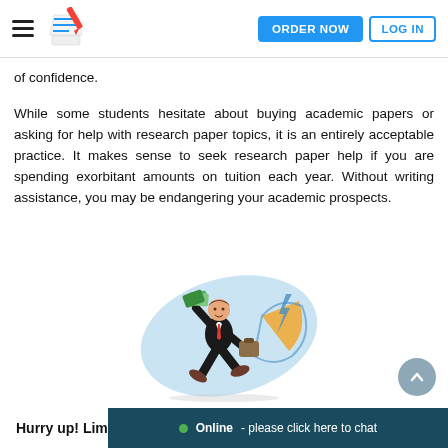ORDER NOW  LOG IN
of confidence.
While some students hesitate about buying academic papers or asking for help with research paper topics, it is an entirely acceptable practice. It makes sense to seek research paper help if you are spending exorbitant amounts on tuition each year. Without writing assistance, you may be endangering your academic prospects.
[Figure (illustration): Cartoon illustration of a running businessman in a suit holding money, with a blue swoosh background and pie chart elements]
Hurry up! Lim  Online - please click here to chat